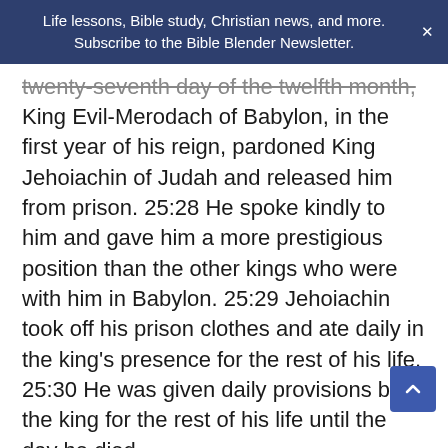Life lessons, Bible study, Christian news, and more. Subscribe to the Bible Blender Newsletter.
twenty-seventh day of the twelfth month, King Evil-Merodach of Babylon, in the first year of his reign, pardoned King Jehoiachin of Judah and released him from prison. 25:28 He spoke kindly to him and gave him a more prestigious position than the other kings who were with him in Babylon. 25:29 Jehoiachin took off his prison clothes and ate daily in the king's presence for the rest of his life. 25:30 He was given daily provisions by the king for the rest of his life until the day he died.